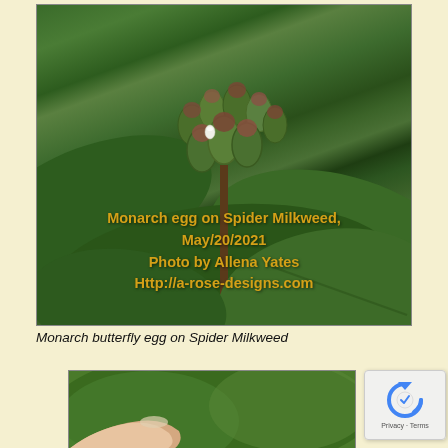[Figure (photo): Close-up macro photograph of a Monarch butterfly egg (small white oval) on Spider Milkweed flower buds. Green and reddish-brown buds cluster in center, with large green leaves visible. Overlaid text in gold/yellow reads: Monarch egg on Spider Milkweed, May/20/2021, Photo by Allena Yates, Http://a-rose-designs.com]
Monarch butterfly egg on Spider Milkweed
[Figure (photo): Partial view of a second photo showing green plant material and a human finger/hand, cropped at the bottom edge of the page.]